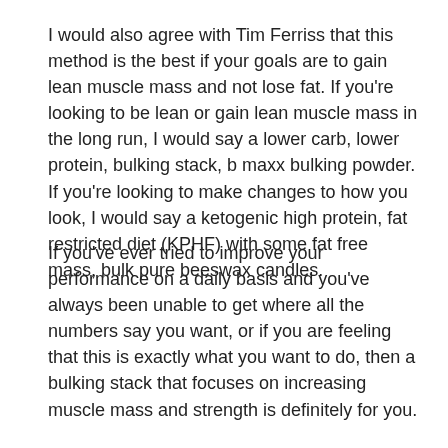I would also agree with Tim Ferriss that this method is the best if your goals are to gain lean muscle mass and not lose fat. If you're looking to be lean or gain lean muscle mass in the long run, I would say a lower carb, lower protein, bulking stack, b maxx bulking powder. If you're looking to make changes to how you look, I would say a ketogenic high protein, fat restricted diet (KPHF) with some fat free mass, bulk pure beeswax candles.
If you've ever tried to improve your performance on a daily basis and you've always been unable to get where all the numbers say you want, or if you are feeling that this is exactly what you want to do, then a bulking stack that focuses on increasing muscle mass and strength is definitely for you.